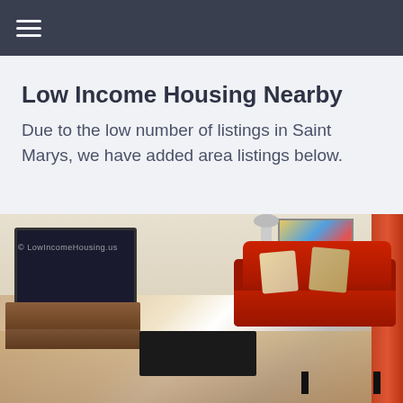≡
Low Income Housing Nearby
Due to the low number of listings in Saint Marys, we have added area listings below.
[Figure (photo): Interior photo of a living room with a red sofa, TV on a wooden stand, coffee table, and tiled floor. Watermark reads '© LowIncomeHousing.us']